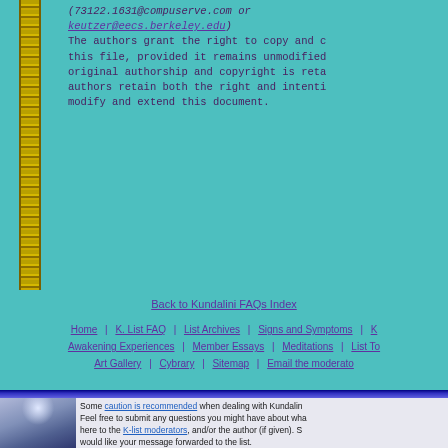(73122.1631@compuserve.com or keutzer@eecs.berkeley.edu) The authors grant the right to copy and c... this file, provided it remains unmodified... original authorship and copyright is reta... authors retain both the right and intenti... modify and extend this document.
Back to Kundalini FAQs Index
Home | K. List FAQ | List Archives | Signs and Symptoms | K... Awakening Experiences | Member Essays | Meditations | List To... Art Gallery | Cybrary | Sitemap | Email the moderator...
[Figure (illustration): Digital art illustration of a human figure with chakra energy points, glowing light above the head, against a purple/blue sky background]
Some caution is recommended when dealing with Kundalini... Feel free to submit any questions you might have about wha... here to the K-list moderators, and/or the author (if given). S... would like your message forwarded to the list. All posts publically archived with the permission of the peo... Reproduction for anything other than personal use is prohib... Footer img by Sharon Webb. Cadeucus anim from www.gif... Design and graphics by the List Mystress, maintenance by... URL: http://www.kundalini-gateway.org/kurt/yogana.html